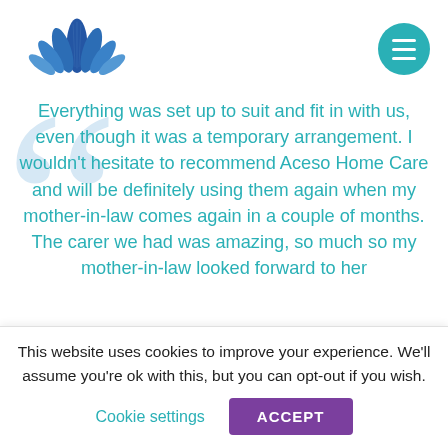[Figure (logo): Aceso Home Care logo — stylized blue lotus/leaf flower in blue and teal tones]
Everything was set up to suit and fit in with us, even though it was a temporary arrangement. I wouldn't hesitate to recommend Aceso Home Care and will be definitely using them again when my mother-in-law comes again in a couple of months. The carer we had was amazing, so much so my mother-in-law looked forward to her
This website uses cookies to improve your experience. We'll assume you're ok with this, but you can opt-out if you wish.
Cookie settings
ACCEPT